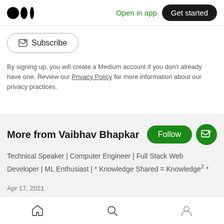Medium logo | Open in app | Get started
Subscribe
By signing up, you will create a Medium account if you don't already have one. Review our Privacy Policy for more information about our privacy practices.
More from Vaibhav Bhapkar
Technical Speaker | Computer Engineer | Full Stack Web Developer | ML Enthusiast | * Knowledge Shared = Knowledge² *
Apr 17, 2021
JWT Authentication & Authorization With
Home | Search | Profile